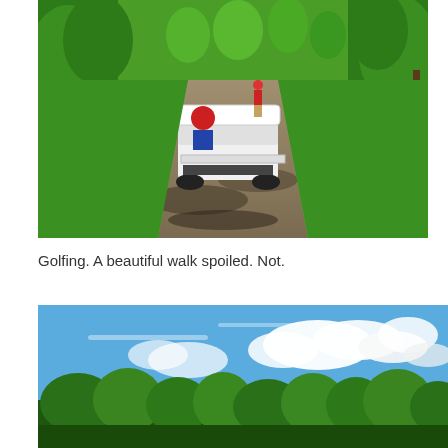[Figure (photo): Golf course path with a golf cart seen from behind on a dirt/gravel cart path, a person in red hat riding, another person in blue shirt and jeans walking alongside, a golfer in red shirt walking ahead in the distance, surrounded by green trees and grass on a sunny day with dappled shadows on the path]
Golfing. A beautiful walk spoiled. Not.
[Figure (photo): Golf course landscape with blue sky and white clouds above, green trees in the lower portion of the frame]